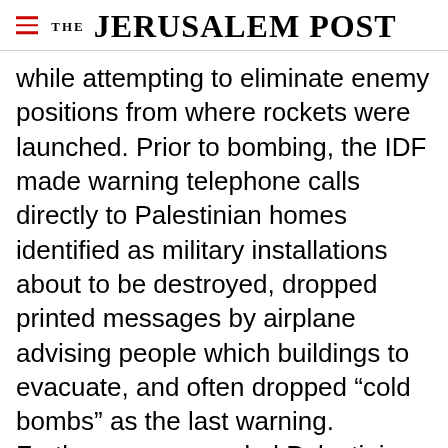THE JERUSALEM POST
while attempting to eliminate enemy positions from where rockets were launched. Prior to bombing, the IDF made warning telephone calls directly to Palestinian homes identified as military installations about to be destroyed, dropped printed messages by airplane advising people which buildings to evacuate, and often dropped “cold bombs” as the last warning. Furthermore, wounded Palestinians who crossed over were treated in Israeli medical facilities. All
Advertisement